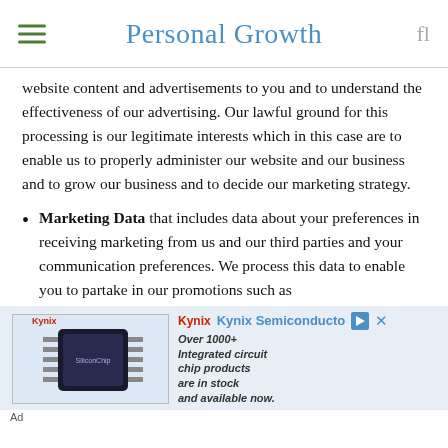Personal Growth
website content and advertisements to you and to understand the effectiveness of our advertising. Our lawful ground for this processing is our legitimate interests which in this case are to enable us to properly administer our website and our business and to grow our business and to decide our marketing strategy.
Marketing Data that includes data about your preferences in receiving marketing from us and our third parties and your communication preferences. We process this data to enable you to partake in our promotions such as
[Figure (other): Kynix Semiconductor advertisement banner showing a chip image with text 'Over 1000+ Integrated circuit chip products are in stock and available now.']
Ad